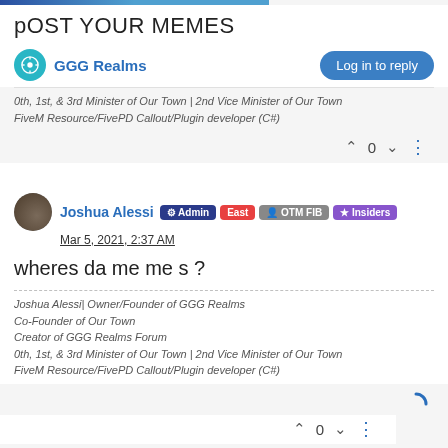pOST YOUR MEMES
GGG Realms
Log in to reply
0th, 1st, & 3rd Minister of Our Town | 2nd Vice Minister of Our Town
FiveM Resource/FivePD Callout/Plugin developer (C#)
0
Joshua Alessi  Admin  East  OTM FIB  Insiders
Mar 5, 2021, 2:37 AM
wheres da me me s ?
Joshua Alessi| Owner/Founder of GGG Realms
Co-Founder of Our Town
Creator of GGG Realms Forum
0th, 1st, & 3rd Minister of Our Town | 2nd Vice Minister of Our Town
FiveM Resource/FivePD Callout/Plugin developer (C#)
0